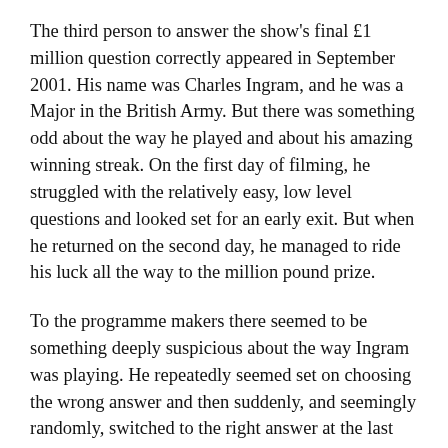The third person to answer the show's final £1 million question correctly appeared in September 2001. His name was Charles Ingram, and he was a Major in the British Army. But there was something odd about the way he played and about his amazing winning streak. On the first day of filming, he struggled with the relatively easy, low level questions and looked set for an early exit. But when he returned on the second day, he managed to ride his luck all the way to the million pound prize.
To the programme makers there seemed to be something deeply suspicious about the way Ingram was playing. He repeatedly seemed set on choosing the wrong answer and then suddenly, and seemingly randomly, switched to the right answer at the last moment. And each time he would show almost as much conviction for his final answer as he had when he originally plumped for the wrong one.
The people behind the programme were convinced that he was cheating. When it was noticed that he sometimes switched to the right answer on hearing a cough from someone in the audience, it seemed that the producers had